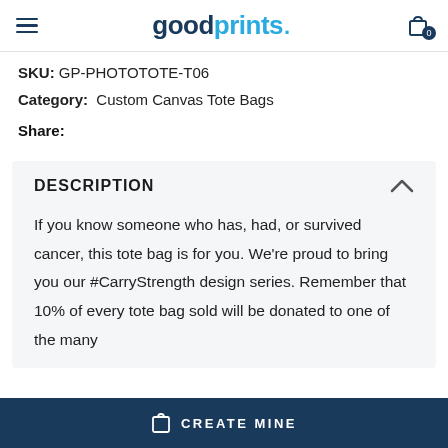goodprints.
SKU: GP-PHOTOTOTE-T06
Category: Custom Canvas Tote Bags
Share:
DESCRIPTION
If you know someone who has, had, or survived cancer, this tote bag is for you. We're proud to bring you our #CarryStrength design series. Remember that 10% of every tote bag sold will be donated to one of the many
CREATE MINE